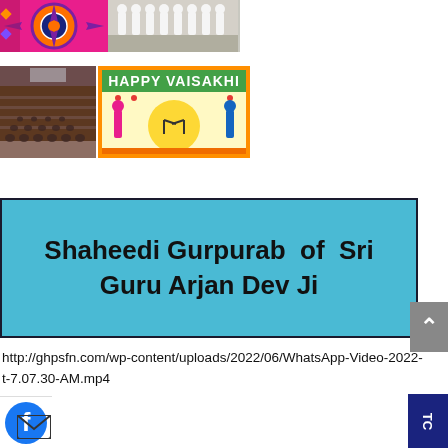[Figure (photo): Two photos side by side at top: colorful mandala/rangoli artwork on left, group of people in white clothes on right]
[Figure (photo): Two photos: yoga/prayer rows of people on left, Happy Vaisakhi colorful poster on right]
Shaheedi Gurpurab  of  Sri Guru Arjan Dev Ji
http://ghpsfn.com/wp-content/uploads/2022/06/WhatsApp-Video-2022-t-7.07.30-AM.mp4